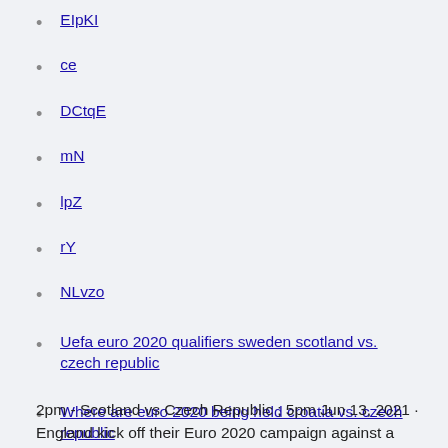EIpKI
ce
DCtqE
mN
lpZ
rY
NLvzo
Uefa euro 2020 qualifiers sweden scotland vs. czech republic
Where are euro 2020 being held croatia vs. czech republic
2pm - Scotland vs Czech Republic ; 5pm Jun 13, 2021 · England kick off their Euro 2020 campaign against a